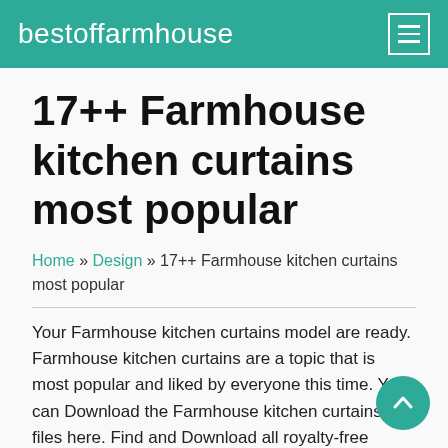bestoffarmhouse
17++ Farmhouse kitchen curtains most popular
Home » Design » 17++ Farmhouse kitchen curtains most popular
Your Farmhouse kitchen curtains model are ready. Farmhouse kitchen curtains are a topic that is most popular and liked by everyone this time. You can Download the Farmhouse kitchen curtains files here. Find and Download all royalty-free images.
If you're searching for farmhouse kitchen curtains pictures information related to the farmhouse kitchen